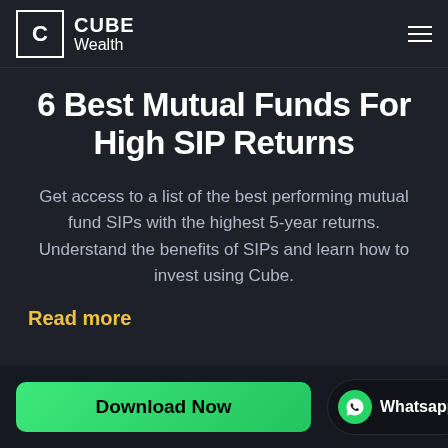CUBE Wealth
6 Best Mutual Funds For High SIP Returns
Get access to a list of the best performing mutual fund SIPs with the highest 5-year returns. Understand the benefits of SIPs and learn how to invest using Cube.
Read more
Download Now
Whatsapp